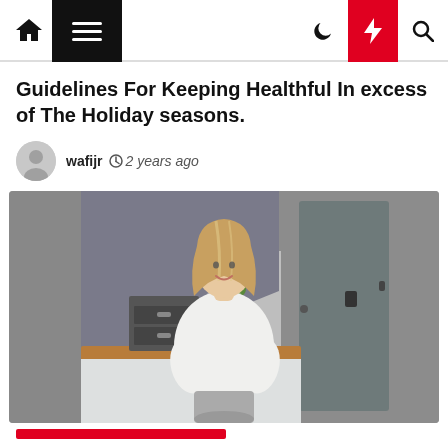Navigation bar with home icon, hamburger menu, dark/light mode, flash, and search icons
Guidelines For Keeping Healthful In excess of The Holiday seasons.
wafijr  2 years ago
[Figure (photo): A smiling woman with long blonde hair wearing a white t-shirt, standing in a home office or utility room with grey walls, a grey door, wooden countertop, industrial filing cabinet, and a small green plant.]
(partial red bar visible at bottom)